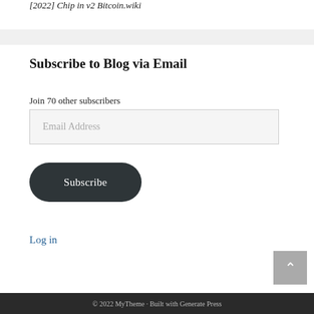[2022] Chip in v2 Bitcoin.wiki
Subscribe to Blog via Email
Join 70 other subscribers
Email Address
Subscribe
Log in
© 2022 MyTheme · Built with Generate Press